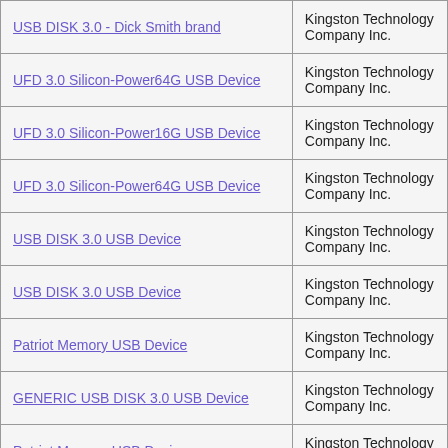| Device Name | Manufacturer |
| --- | --- |
| USB DISK 3.0 - Dick Smith brand | Kingston Technology Company Inc. |
| UFD 3.0 Silicon-Power64G USB Device | Kingston Technology Company Inc. |
| UFD 3.0 Silicon-Power16G USB Device | Kingston Technology Company Inc. |
| UFD 3.0 Silicon-Power64G USB Device | Kingston Technology Company Inc. |
| USB DISK 3.0 USB Device | Kingston Technology Company Inc. |
| USB DISK 3.0 USB Device | Kingston Technology Company Inc. |
| Patriot Memory USB Device | Kingston Technology Company Inc. |
| GENERIC USB DISK 3.0 USB Device | Kingston Technology Company Inc. |
| Patriot Memory USB Device | Kingston Technology Company Inc. |
| Patriot Memory USB Device | Kingston Technology Company Inc. |
| Patriot Memory USB Device (Spark 16GB USB 3.0) | Kingston Technology Company Inc. |